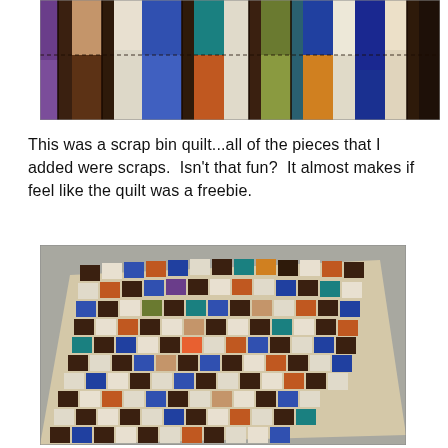[Figure (photo): Close-up photo of a colorful patchwork quilt with brown, blue, orange, teal, white, and purple fabric squares arranged in a pattern.]
This was a scrap bin quilt...all of the pieces that I added were scraps.  Isn't that fun?  It almost makes if feel like the quilt was a freebie.
[Figure (photo): Overhead photo of a completed patchwork quilt laid on a concrete floor, showing colorful fabric squares in brown, blue, orange, teal, white, and other colors in a checkerboard-like pattern.]